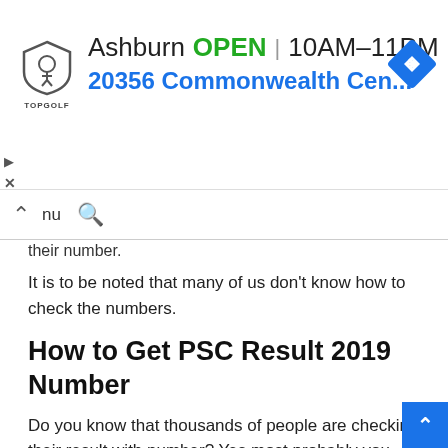[Figure (infographic): Advertisement banner: Topgolf logo, Ashburn OPEN 10AM-11PM, 20356 Commonwealth Cen..., navigation arrow icon]
nu [search icon]
their number.
It is to be noted that many of us don't know how to check the numbers.
How to Get PSC Result 2019 Number
Do you know that thousands of people are checking their result with number? Yes most probably you haven't heard it. Because it is latest introduction of education board.
Though it is new but it is very easy. Anyone can easily chec... number for exam result 2019. To check your PSC result with ...